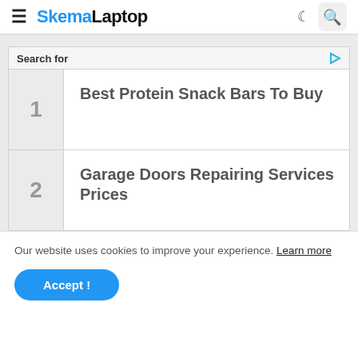SkemaLaptop
Search for
1 Best Protein Snack Bars To Buy
2 Garage Doors Repairing Services Prices
Our website uses cookies to improve your experience. Learn more
Accept !